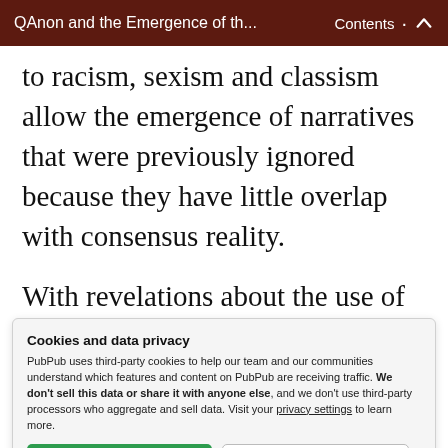QAnon and the Emergence of th...   Contents
to racism, sexism and classism allow the emergence of narratives that were previously ignored because they have little overlap with consensus reality.
With revelations about the use of Facebook groups by the Russian Internet Research Agency to create conflicts between groups
Cookies and data privacy
PubPub uses third-party cookies to help our team and our communities understand which features and content on PubPub are receiving traffic. We don't sell this data or share it with anyone else, and we don't use third-party processors who aggregate and sell data. Visit your privacy settings to learn more.
[Accept] [Disable]
to the first that the past two com-